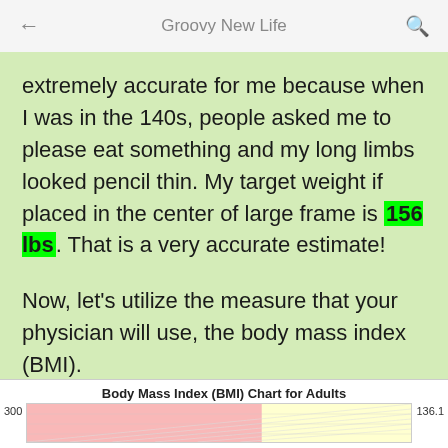Groovy New Life
extremely accurate for me because when I was in the 140s, people asked me to please eat something and my long limbs looked pencil thin. My target weight if placed in the center of large frame is 156 lbs. That is a very accurate estimate!
Now, let's utilize the measure that your physician will use, the body mass index (BMI).
[Figure (other): Partial view of a Body Mass Index (BMI) Chart for Adults showing pink and yellow colored regions. Left axis label shows 300, right label shows 136.1.]